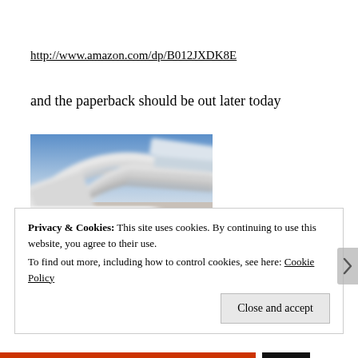http://www.amazon.com/dp/B012JXDK8E
and the paperback should be out later today
[Figure (photo): Blurred photo of a modern white architectural structure with curved lines, possibly a train station or futuristic building, with motion blur suggesting movement.]
Privacy & Cookies: This site uses cookies. By continuing to use this website, you agree to their use.
To find out more, including how to control cookies, see here: Cookie Policy
Close and accept